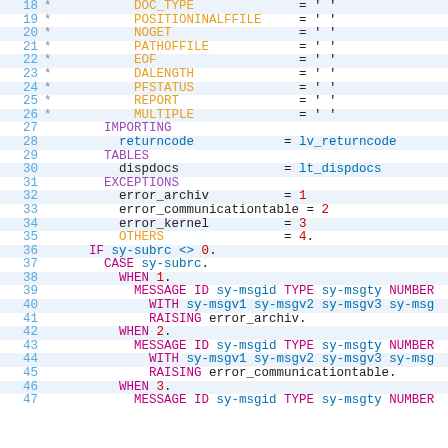[Figure (screenshot): ABAP source code editor showing lines 18-47 of a function module call with EXPORTING, IMPORTING, TABLES, and EXCEPTIONS sections, followed by IF/CASE error handling logic.]